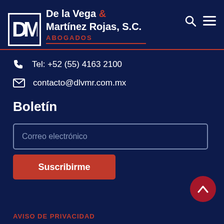[Figure (logo): DM logo mark with white block letters D and M inside a bordered square, followed by firm name 'De la Vega & Martínez Rojas, S.C.' and 'ABOGADOS' in red with red underline. Navigation icons (search, menu) on the right.]
Tel: +52 (55) 4163 2100
contacto@dlvmr.com.mx
Boletín
Correo electrónico
Suscribirme
AVISO DE PRIVACIDAD